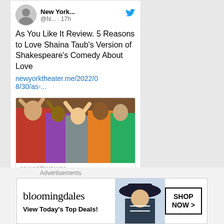[Figure (screenshot): Twitter/X profile avatar for New York Theater with bird icon and handle @N... · 17h]
New York... @N... · 17h
As You Like It Review. 5 Reasons to Love Shaina Taub's Version of Shakespeare's Comedy About Love
newyorktheater.me/2022/08/30/as-...
[Figure (photo): Photo of performers in colorful costumes celebrating on stage, arms raised]
newyorktheater.me
As You Like It Review. 5
Advertisements
[Figure (screenshot): Bloomingdales advertisement banner: bloomingdales logo, View Today's Top Deals!, woman in hat, SHOP NOW >]